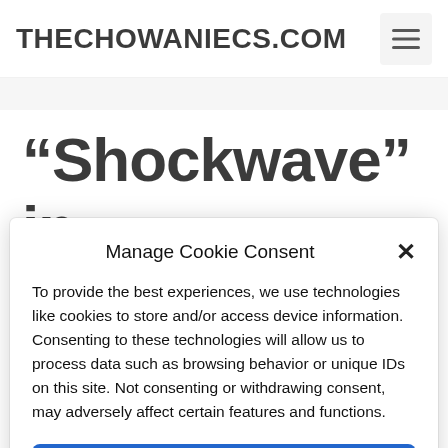THECHOWANIECS.COM
“Shockwave” in
Manage Cookie Consent
To provide the best experiences, we use technologies like cookies to store and/or access device information. Consenting to these technologies will allow us to process data such as browsing behavior or unique IDs on this site. Not consenting or withdrawing consent, may adversely affect certain features and functions.
Accept
Cookie Policy